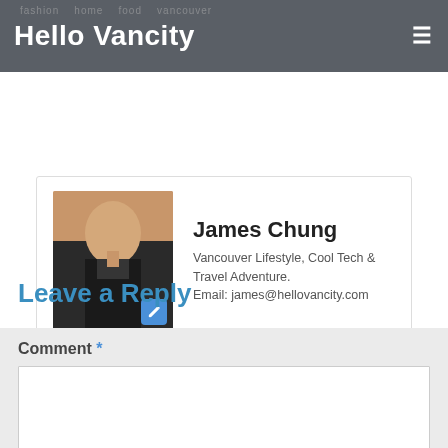Hello Vancity
[Figure (photo): Author photo of James Chung in a suit with a blue edit icon badge]
James Chung
Vancouver Lifestyle, Cool Tech & Travel Adventure.
Email: james@hellovancity.com
Leave a Reply
Comment *
Name *
Email *